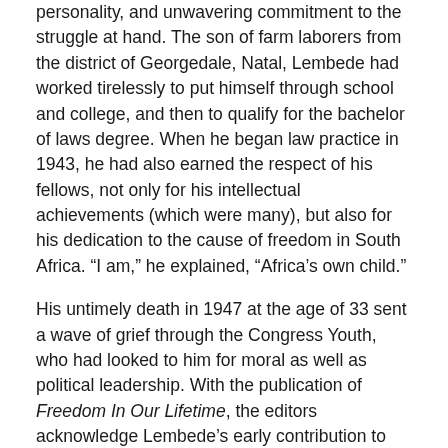personality, and unwavering commitment to the struggle at hand. The son of farm laborers from the district of Georgedale, Natal, Lembede had worked tirelessly to put himself through school and college, and then to qualify for the bachelor of laws degree. When he began law practice in 1943, he had also earned the respect of his fellows, not only for his intellectual achievements (which were many), but also for his dedication to the cause of freedom in South Africa. “I am,” he explained, “Africa’s own child.”
His untimely death in 1947 at the age of 33 sent a wave of grief through the Congress Youth, who had looked to him for moral as well as political leadership. With the publication of Freedom In Our Lifetime, the editors acknowledge Lembede’s early contribution to the freedom movement, in particular his passionate and eloquent articulation of the African-centered philosophy he called “Africanism.”
Robert R. Edgar is professor of African studies at Howard